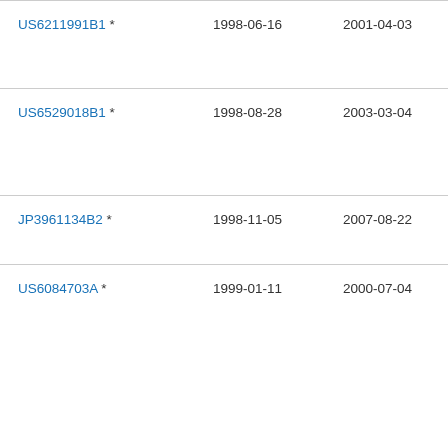| Patent Number | Filed | Publication Date | Assignee |
| --- | --- | --- | --- |
| US6211991B1 * | 1998-06-16 | 2001-04-03 | Pho Dyn Inc |
| US6529018B1 * | 1998-08-28 | 2003-03-04 | Inte Bus Ma Cor |
| JP3961134B2 * | 1998-11-05 | 2007-08-22 | □□□□ □□□□ |
| US6084703A * | 1999-01-11 | 2000-07-04 | Tex Ins Inc |